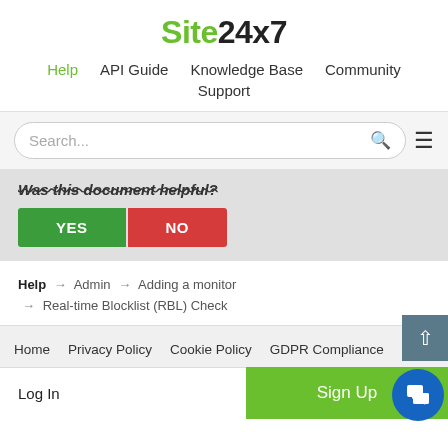Site24x7
Help  API Guide  Knowledge Base  Community  Support
Search...
Was this document helpful?
YES  NO
Help → Admin → Adding a monitor → Real-time Blocklist (RBL) Check
Home  Privacy Policy  Cookie Policy  GDPR Compliance
Log In  Sign Up